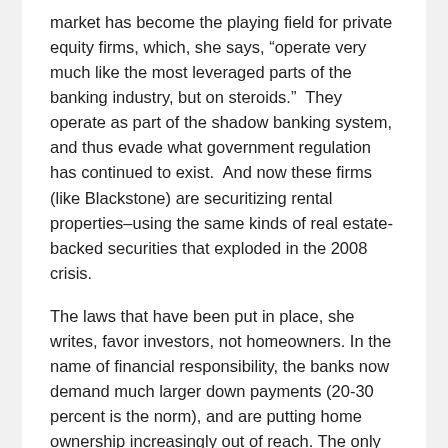market has become the playing field for private equity firms, which, she says, “operate very much like the most leveraged parts of the banking industry, but on steroids.”  They operate as part of the shadow banking system, and thus evade what government regulation has continued to exist.  And now these firms (like Blackstone) are securitizing rental properties–using the same kinds of real estate-backed securities that exploded in the 2008 crisis.
The laws that have been put in place, she writes, favor investors, not homeowners. In the name of financial responsibility, the banks now demand much larger down payments (20-30 percent is the norm), and are putting home ownership increasingly out of reach. The only population for which getting a mortgage is easier today, is the group of people